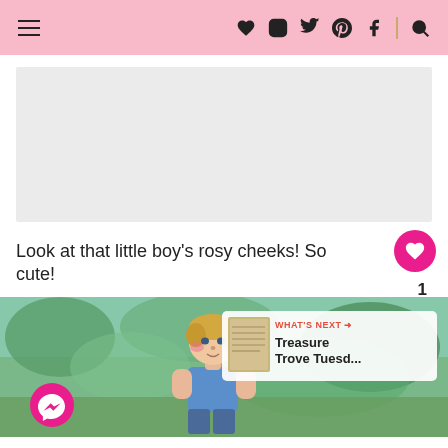Navigation header with hamburger menu and social icons (heart, instagram, twitter, pinterest, facebook, search)
[Figure (other): Gray advertisement placeholder area]
Look at that little boy's rosy cheeks! So cute!
[Figure (photo): Colorful vintage-style illustration of a young boy with rosy cheeks and blonde hair against a green/nature background. A Messenger button is visible bottom-left. A 'WHAT'S NEXT' preview box shows 'Treasure Trove Tuesd...' on the right side.]